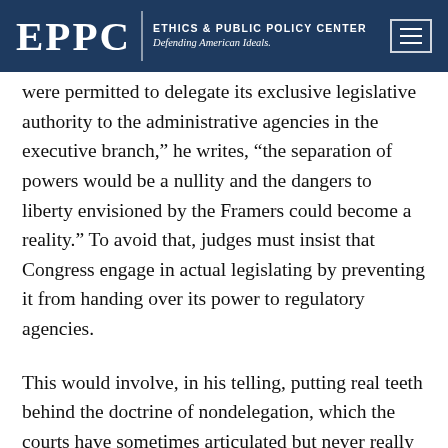EPPC | ETHICS & PUBLIC POLICY CENTER Defending American Ideals.
were permitted to delegate its exclusive legislative authority to the administrative agencies in the executive branch,” he writes, “the separation of powers would be a nullity and the dangers to liberty envisioned by the Framers could become a reality.” To avoid that, judges must insist that Congress engage in actual legislating by preventing it from handing over its power to regulatory agencies.
This would involve, in his telling, putting real teeth behind the doctrine of nondelegation, which the courts have sometimes articulated but never really enforced. And it would involve